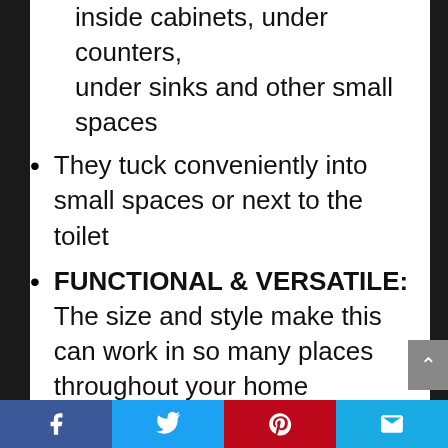inside cabinets, under counters, under sinks and other small spaces
They tuck conveniently into small spaces or next to the toilet
FUNCTIONAL & VERSATILE: The size and style make this can work in so many places throughout your home
mDESIGN TIP: Try using these to store toys in your children’s playroom or bedroom, the durable materials and built-in handles make these perfect for storing your little ones favorite blocks, cars, stuffed animals and other toys
Also great for condos, dorm rooms